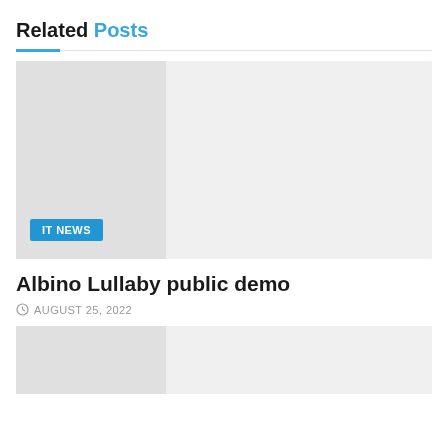Related Posts
[Figure (photo): Gray placeholder image with a darker left panel and a blue IT NEWS badge in the bottom left corner]
Albino Lullaby public demo
AUGUST 25, 2022
[Figure (photo): Gray placeholder image with a darker left panel, partially visible at bottom of page]